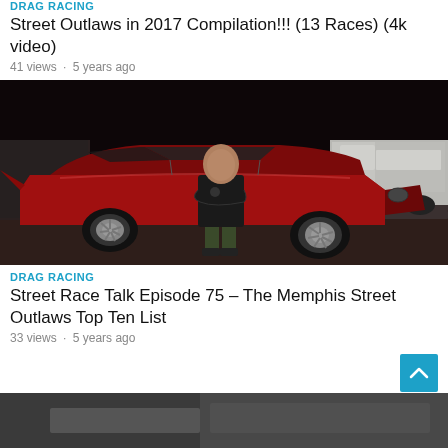DRAG RACING
Street Outlaws in 2017 Compilation!!! (13 Races) (4k video)
41 views · 5 years ago
[Figure (photo): Man in black t-shirt and camo shorts standing in front of a red classic muscle car at night in a parking lot, with a white pickup truck visible in the background.]
DRAG RACING
Street Race Talk Episode 75 – The Memphis Street Outlaws Top Ten List
33 views · 5 years ago
[Figure (photo): Partial view of a car at the bottom of the page, partially cut off.]